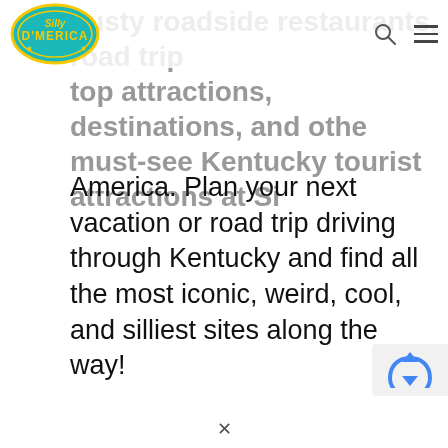[Figure (logo): Silly America logo — yellow and teal circular badge with 'Silly America' text]
busty roadside restaurants, road trip top attractions, destinations, and other must-see Kentucky tourist attractions at Silly America. Plan your next vacation or road trip driving through Kentucky and find all the most iconic, weird, cool, and silliest sites along the way!
[Figure (other): reCAPTCHA badge/widget in bottom right corner]